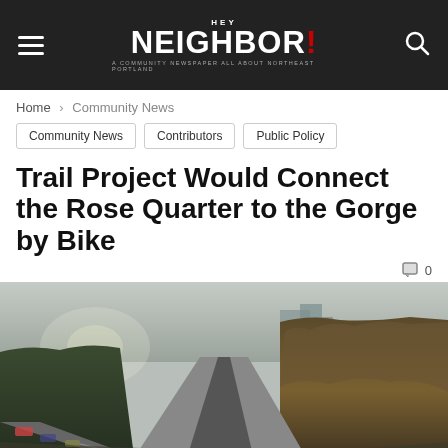HEY NEIGHBOR! A COMMUNITY NEWSPAPER ALL ABOUT NORTHEAST PORTLAND
Home › Community News
Community News
Contributors
Public Policy
Trail Project Would Connect the Rose Quarter to the Gorge by Bike
💬 0
[Figure (photo): Aerial/elevated view of a highway or rail corridor running through a urban/forested area in Portland, with trees on the right side showing autumn foliage, buildings visible in the background, and overcast sky. Cars and traffic visible along roadway on left.]